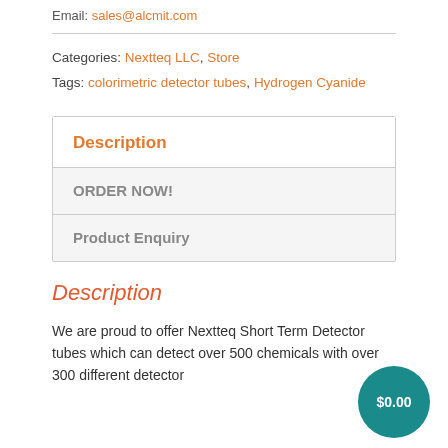Email: sales@alcmit.com
Categories: Nextteq LLC, Store
Tags: colorimetric detector tubes, Hydrogen Cyanide
Description
ORDER NOW!
Product Enquiry
Description
We are proud to offer Nextteq Short Term Detector tubes which can detect over 500 chemicals with over 300 different detector
$0.00